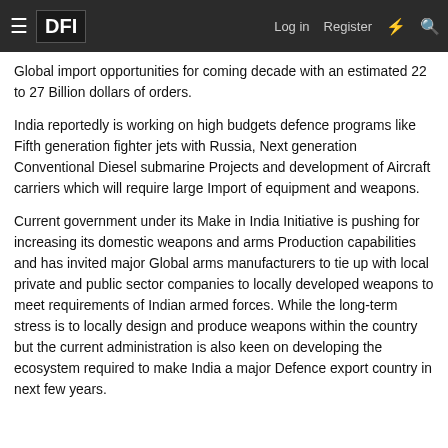DFI — Log in  Register
Global import opportunities for coming decade with an estimated 22 to 27 Billion dollars of orders.
India reportedly is working on high budgets defence programs like Fifth generation fighter jets with Russia, Next generation Conventional Diesel submarine Projects and development of Aircraft carriers which will require large Import of equipment and weapons.
Current government under its Make in India Initiative is pushing for increasing its domestic weapons and arms Production capabilities and has invited major Global arms manufacturers to tie up with local private and public sector companies to locally developed weapons to meet requirements of Indian armed forces. While the long-term stress is to locally design and produce weapons within the country but the current administration is also keen on developing the ecosystem required to make India a major Defence export country in next few years.